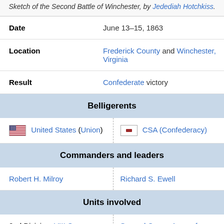Sketch of the Second Battle of Winchester, by Jedediah Hotchkiss.
| Date | June 13–15, 1863 |
| Location | Frederick County and Winchester, Virginia |
| Result | Confederate victory |
| Belligerents |  |
| United States (Union) | CSA (Confederacy) |
| Commanders and leaders |  |
| Robert H. Milroy | Richard S. Ewell |
| Units involved |  |
| 2nd Division, VIII Corps | Second Corps, Army of Northern Virginia |